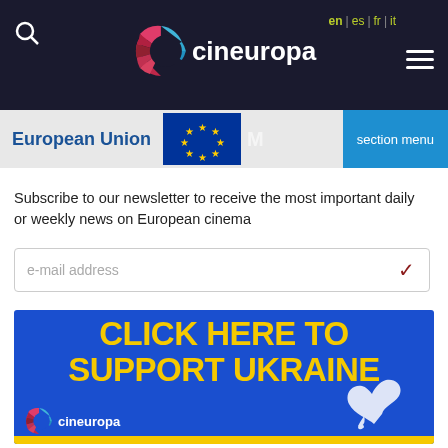cineuropa — en | es | fr | it
[Figure (logo): Cineuropa website header with logo, search icon, language selector (en | es | fr | it), and hamburger menu on dark background]
[Figure (infographic): European Union banner with EU flag and section menu button, partially obscured MEDIA text]
Subscribe to our newsletter to receive the most important daily or weekly news on European cinema
[Figure (screenshot): Email address input field with checkmark icon]
[Figure (infographic): Blue banner with yellow text reading CLICK HERE TO SUPPORT UKRAINE, Cineuropa logo at bottom left, white dove silhouette at right, yellow strip at bottom]